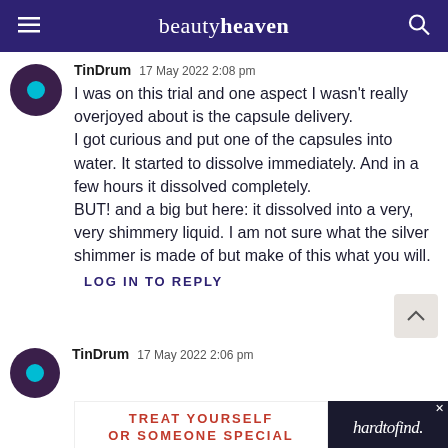beautyheaven
TinDrum  17 May 2022 2:08 pm
I was on this trial and one aspect I wasn't really overjoyed about is the capsule delivery.
I got curious and put one of the capsules into water. It started to dissolve immediately. And in a few hours it dissolved completely.
BUT! and a big but here: it dissolved into a very, very shimmery liquid. I am not sure what the silver shimmer is made of but make of this what you will.
LOG IN TO REPLY
TinDrum  17 May 2022 2:06 pm
[Figure (other): Advertisement banner: 'TREAT YOURSELF OR SOMEONE SPECIAL' with hardtofind. logo]